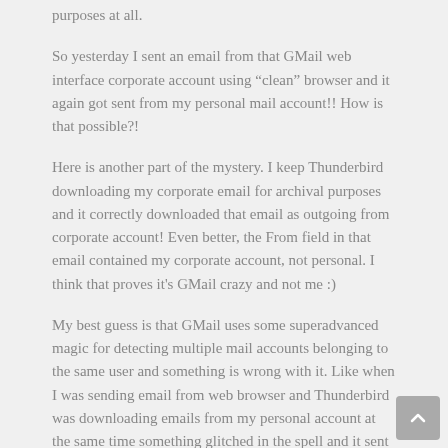purposes at all.
So yesterday I sent an email from that GMail web interface corporate account using “clean” browser and it again got sent from my personal mail account!! How is that possible?!
Here is another part of the mystery. I keep Thunderbird downloading my corporate email for archival purposes and it correctly downloaded that email as outgoing from corporate account! Even better, the From field in that email contained my corporate account, not personal. I think that proves it's GMail crazy and not me :)
My best guess is that GMail uses some superadvanced magic for detecting multiple mail accounts belonging to the same user and something is wrong with it. Like when I was sending email from web browser and Thunderbird was downloading emails from my personal account at the same time something glitched in the spell and it sent my email from worng account. That's definitely poor design and I wouldn't expect such thing from Google, but ... who knows.